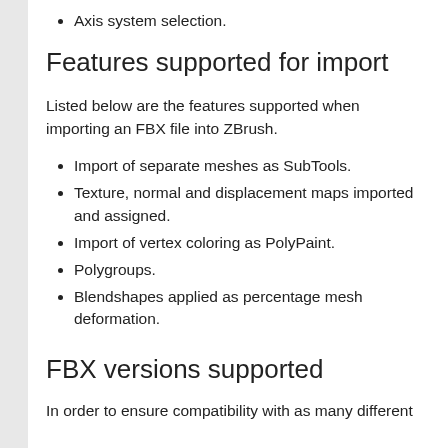Axis system selection.
Features supported for import
Listed below are the features supported when importing an FBX file into ZBrush.
Import of separate meshes as SubTools.
Texture, normal and displacement maps imported and assigned.
Import of vertex coloring as PolyPaint.
Polygroups.
Blendshapes applied as percentage mesh deformation.
FBX versions supported
In order to ensure compatibility with as many different